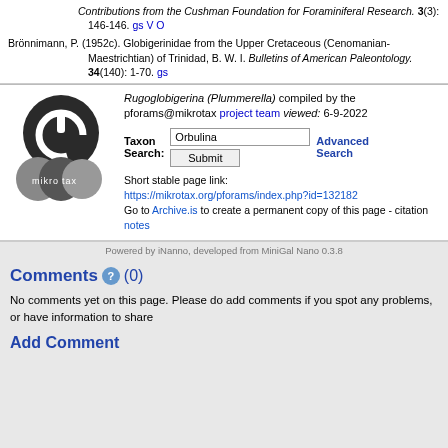Contributions from the Cushman Foundation for Foraminiferal Research. 3(3): 146-146. gs V O
Brönnimann, P. (1952c). Globigerinidae from the Upper Cretaceous (Cenomanian-Maestrichtian) of Trinidad, B. W. I. Bulletins of American Paleontology. 34(140): 1-70. gs
[Figure (logo): Mikrotax logo: dark circular power button icon with three overlapping grey circles below labeled 'mikrotax']
Rugoglobigerina (Plummerella) compiled by the pforams@mikrotax project team viewed: 6-9-2022
Taxon Search: [Orbulina] [Submit] Advanced Search
Short stable page link: https://mikrotax.org/pforams/index.php?id=132182 Go to Archive.is to create a permanent copy of this page - citation notes
Powered by iNanno, developed from MiniGal Nano 0.3.8
Comments (0)
No comments yet on this page. Please do add comments if you spot any problems, or have information to share
Add Comment